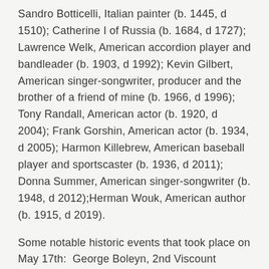Sandro Botticelli, Italian painter (b. 1445, d 1510); Catherine I of Russia (b. 1684, d 1727); Lawrence Welk, American accordion player and bandleader (b. 1903, d 1992); Kevin Gilbert, American singer-songwriter, producer and the brother of a friend of mine (b. 1966, d 1996); Tony Randall, American actor (b. 1920, d 2004); Frank Gorshin, American actor (b. 1934, d 2005); Harmon Killebrew, American baseball player and sportscaster (b. 1936, d 2011); Donna Summer, American singer-songwriter (b. 1948, d 2012);Herman Wouk, American author (b. 1915, d 2019).
Some notable historic events that took place on May 17th:  George Boleyn, 2nd Viscount Rochford and four others were executed for treason and adultery. Henry VIII...